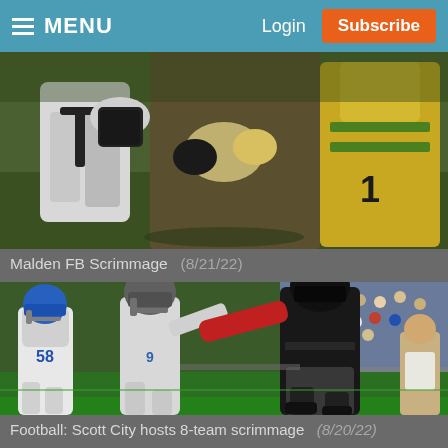MENU   Login   Subscribe
[Figure (photo): Close-up of football players in white and yellow/green uniforms during the Malden FB Scrimmage]
Malden FB Scrimmage   (8/21/22)
[Figure (photo): Football action photo: Scott City player in black uniform stiff-arming defender in white uniform (#58) during 8-team scrimmage, with crowd in background]
Football: Scott City hosts 8-team scrimmage   (8/20/22)